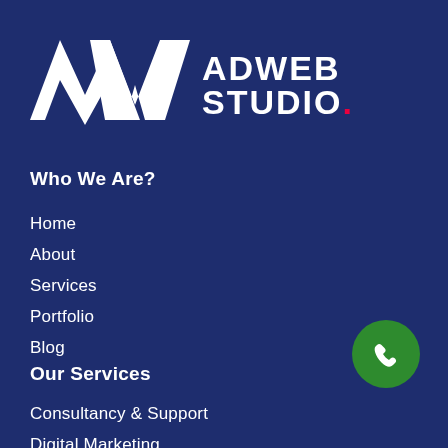[Figure (logo): AdWeb Studio logo with AW monogram in white on dark blue background, text ADWEB STUDIO with red dot]
Who We Are?
Home
About
Services
Portfolio
Blog
Our Services
Consultancy & Support
Digital Marketing
Ecommerce Web Development